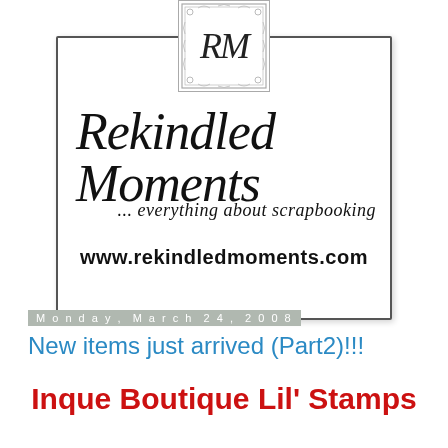[Figure (logo): Rekindled Moments scrapbooking store logo. A decorative square badge with ornate border containing the script initials 'RM' sits centered at the top of a bordered rectangle. Inside the rectangle: large italic script text 'Rekindled Moments', italic tagline '... everything about scrapbooking', and bold website URL 'www.rekindledmoments.com'.]
Monday, March 24, 2008
New items just arrived (Part2)!!!
Inque Boutique Lil' Stamps